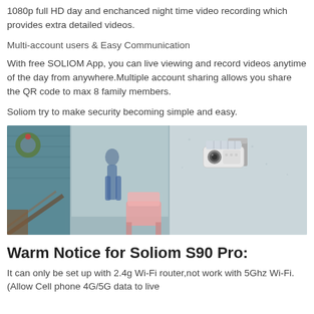1080p full HD day and enchanced night time video recording which provides extra detailed videos.
Multi-account users & Easy Communication
With free SOLIOM App, you can live viewing and record videos anytime of the day from anywhere.Multiple account sharing allows you share the QR code to max 8 family members.
Soliom try to make security becoming simple and easy.
[Figure (photo): A security camera mounted on a wall outdoors, with a blurred background showing a porch scene with a wreath, person, and pink chair.]
Warm Notice for Soliom S90 Pro:
It can only be set up with 2.4g Wi-Fi router,not work with 5Ghz Wi-Fi. (Allow Cell phone 4G/5G data to live